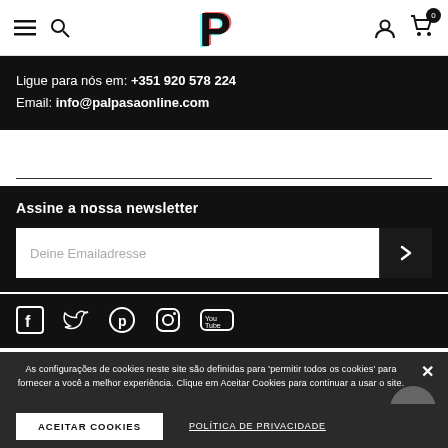Palpasa Online - Navigation header with hamburger menu, search, logo, user and cart icons
Ligue para nós em: +351 920 578 224
Email: info@palpasaonline.com
Assine a nossa newsletter
Deine Emailadresse
[Figure (other): Social media icons row: Facebook, Twitter, Pinterest, Instagram, YouTube]
As configurações de cookies neste site são definidas para 'permitir todos os cookies' para fornecer a você a melhor experiência. Clique em Aceitar Cookies para continuar a usar o site.
ACEITAR COOKIES
POLÍTICA DE PRIVACIDADE